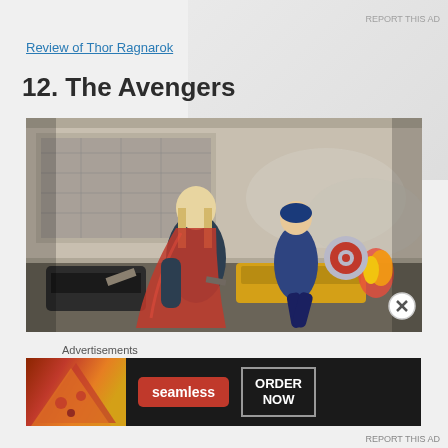Review of Thor Ragnarok
12. The Avengers
[Figure (photo): Scene from The Avengers movie showing Thor in his costume with a red cape and Captain America running in an urban battle scene with destroyed vehicles and fire in the background.]
Advertisements
[Figure (other): Seamless food delivery advertisement banner showing pizza and 'ORDER NOW' call to action button on dark background.]